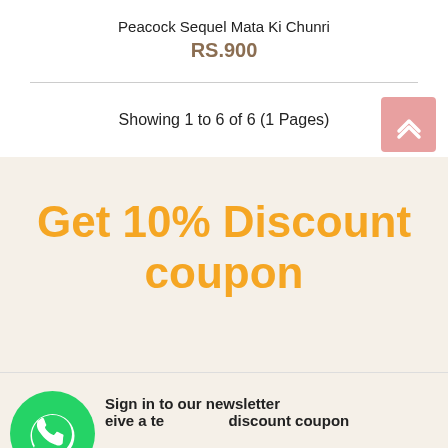Peacock Sequel Mata Ki Chunri
RS.900
Showing 1 to 6 of 6 (1 Pages)
Get 10% Discount coupon
Sign in to our newsletter eive a te... discount coupon
Filter